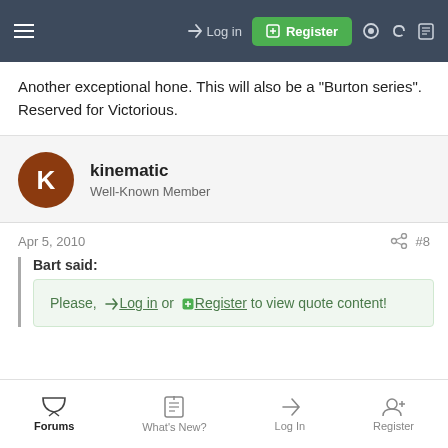Log in | Register
Another exceptional hone. This will also be a "Burton series".
Reserved for Victorious.
kinematic
Well-Known Member
Apr 5, 2010  #8
Bart said:
Please, Log in or Register to view quote content!
Forums  What's New?  Log In  Register